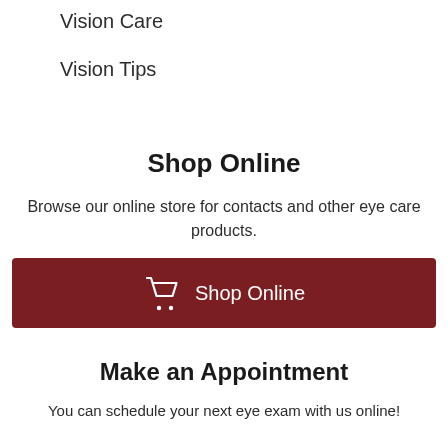Vision Care
Vision Tips
Shop Online
Browse our online store for contacts and other eye care products.
[Figure (other): Dark red button with shopping cart icon and text 'Shop Online']
Make an Appointment
You can schedule your next eye exam with us online!